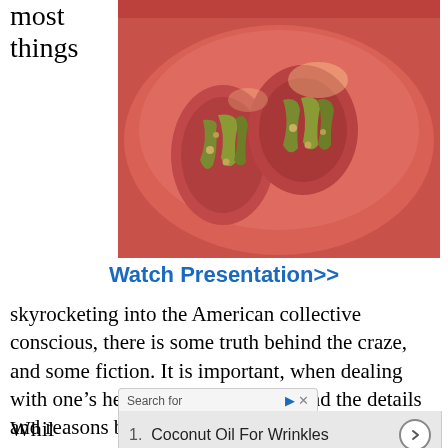most things
[Figure (photo): Close-up photo of a sliced tomato showing seeds and interior, reddish-pink flesh with green seed casings]
Watch Presentation>>
skyrocketing into the American collective conscious, there is some truth behind the craze, and some fiction. It is important, when dealing with one’s health, to really understand the details and reasons behind consuming trendy products.
Search for
1. Coconut Oil For Wrinkles
Whil